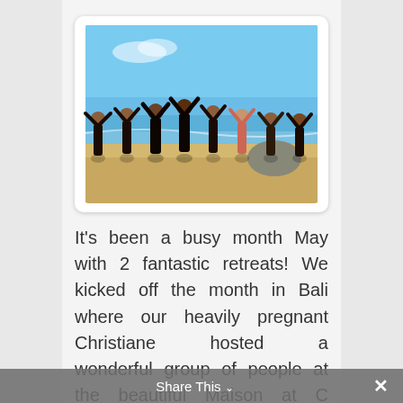[Figure (photo): Group of women in swimwear on a beach with blue sky and ocean in background, arms raised above their heads doing yoga poses]
It's been a busy month May with 2 fantastic retreats! We kicked off the month in Bali where our heavily pregnant Christiane hosted a wonderful group of people at the beautiful Maison at C Boutique, Seminyak. The week was filled with lots of Bikram Yoga in the beautiful
Share This ∨  ✕